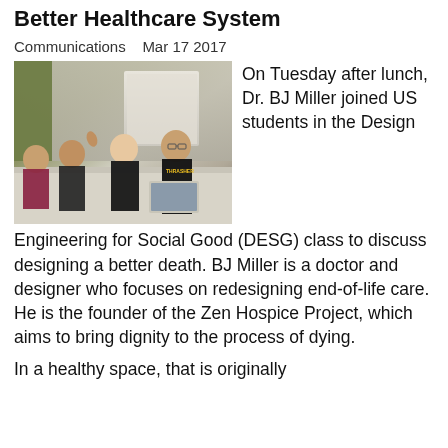Better Healthcare System
Communications   Mar 17 2017
[Figure (photo): Students sitting around a table in a classroom discussion, four young women visible, one raising her hand]
On Tuesday after lunch, Dr. BJ Miller joined US students in the Design Engineering for Social Good (DESG) class to discuss designing a better death. BJ Miller is a doctor and designer who focuses on redesigning end-of-life care. He is the founder of the Zen Hospice Project, which aims to bring dignity to the process of dying.
In a healthy space, that is originally